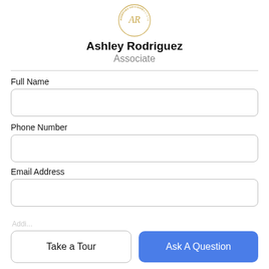[Figure (logo): Circular logo with initials AR and decorative text around the border in gold/tan color]
Ashley Rodriguez
Associate
Full Name
Phone Number
Email Address
Take a Tour
Ask A Question